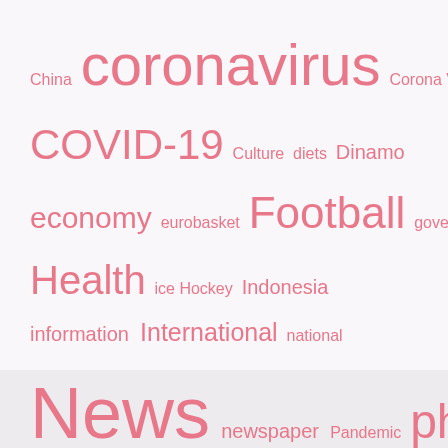[Figure (infographic): Tag cloud / word cloud with terms related to news, media, and current events. All tags in pink/salmon color on a light background. Terms vary in font size indicating frequency/importance: coronavirus and COVID-19 are largest, followed by News, Sports, Video, Health, Football, photo, politics, Sport, World, economy, information, International, Ukraine, etc. Smaller tags include China, Corona Virus, Culture, diets, Dinamo, eurobasket, government, ice Hockey, Indonesia, national, newspaper, Pandemic, relationship, Russia, sex, stars, Tennis, the news, Tops, United States of America, vaccine, What's new, women.]